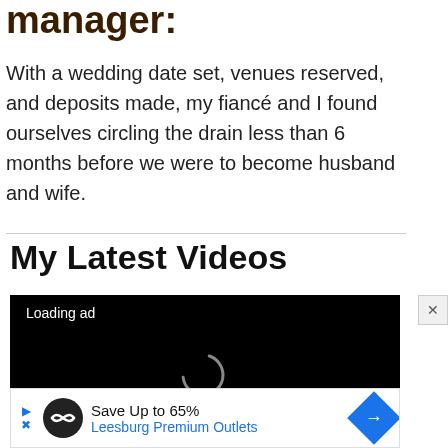manager:
With a wedding date set, venues reserved, and deposits made, my fiancé and I found ourselves circling the drain less than 6 months before we were to become husband and wife.
My Latest Videos
[Figure (screenshot): Black video player box showing 'Loading ad' text and a circular loading spinner icon]
[Figure (screenshot): Advertisement bar: Save Up to 65% - Leesburg Premium Outlets with logo and arrow icon]